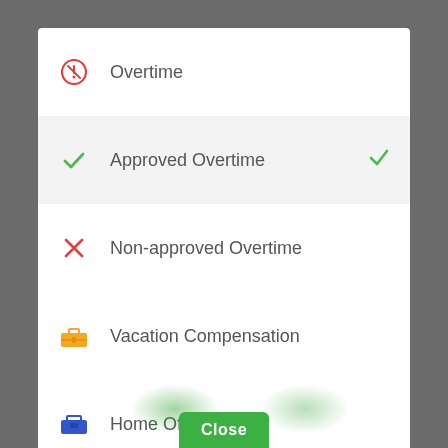Overtime
Approved Overtime
Non-approved Overtime
Vacation Compensation
Home Office